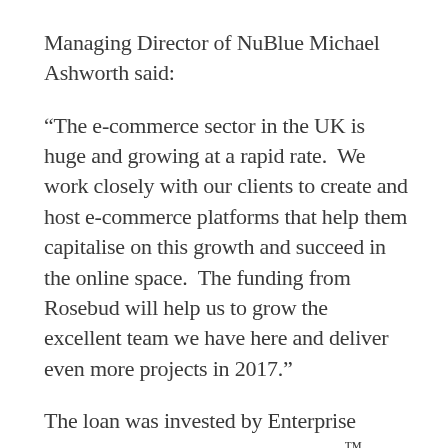Managing Director of NuBlue Michael Ashworth said:
“The e-commerce sector in the UK is huge and growing at a rapid rate.  We work closely with our clients to create and host e-commerce platforms that help them capitalise on this growth and succeed in the online space.  The funding from Rosebud will help us to grow the excellent team we have here and deliver even more projects in 2017.”
The loan was invested by Enterprise Ventures, which manages Rosebud™ on behalf of Lancashire County Developments Limited (LCDL), Lancashire County Council’s economic development company.